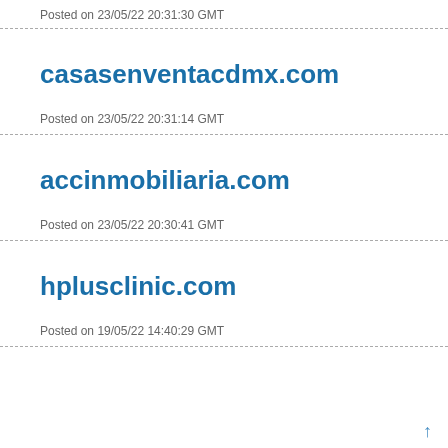Posted on 23/05/22 20:31:30 GMT
casasenventacdmx.com
Posted on 23/05/22 20:31:14 GMT
accinmobiliaria.com
Posted on 23/05/22 20:30:41 GMT
hplusclinic.com
Posted on 19/05/22 14:40:29 GMT